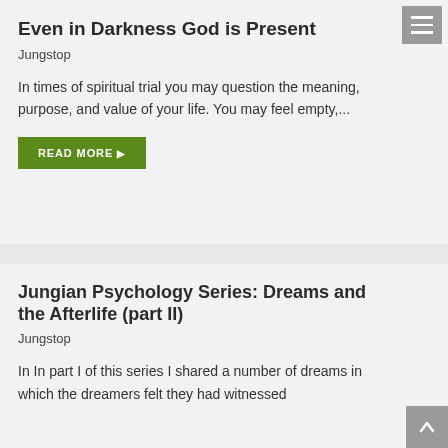Even in Darkness God is Present
Jungstop
In times of spiritual trial you may question the meaning, purpose, and value of your life. You may feel empty,...
READ MORE
Jungian Psychology Series: Dreams and the Afterlife (part II)
Jungstop
In In part I of this series I shared a number of dreams in which the dreamers felt they had witnessed